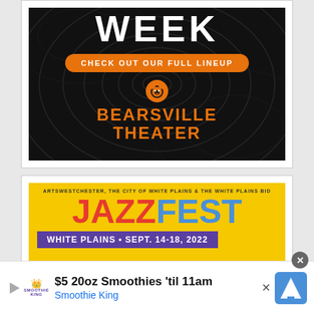[Figure (illustration): Bearsville Theater advertisement on dark swirling background showing 'WEEK', 'CHECK OUT OUR FULL LINEUP' button, bear logo, and 'BEARSVILLE THEATER' in orange text]
[Figure (illustration): JazzFest White Plains advertisement on yellow background with text 'ARTSWESTCHESTER, THE CITY OF WHITE PLAINS & THE WHITE PLAINS BID', 'JAZZFEST' in large letters, and 'WHITE PLAINS • SEPT. 14-18, 2022' on purple bar]
$5 20oz Smoothies 'til 11am
Smoothie King